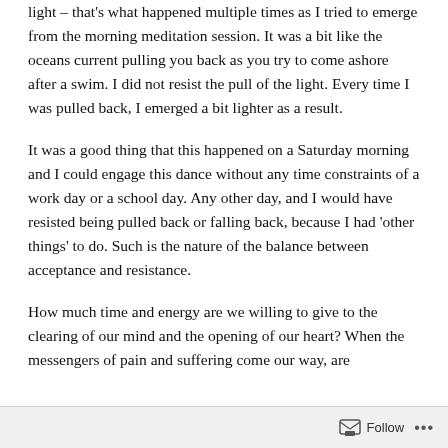light – that's what happened multiple times as I tried to emerge from the morning meditation session. It was a bit like the oceans current pulling you back as you try to come ashore after a swim. I did not resist the pull of the light. Every time I was pulled back, I emerged a bit lighter as a result.
It was a good thing that this happened on a Saturday morning and I could engage this dance without any time constraints of a work day or a school day. Any other day, and I would have resisted being pulled back or falling back, because I had 'other things' to do. Such is the nature of the balance between acceptance and resistance.
How much time and energy are we willing to give to the clearing of our mind and the opening of our heart? When the messengers of pain and suffering come our way, are
Follow